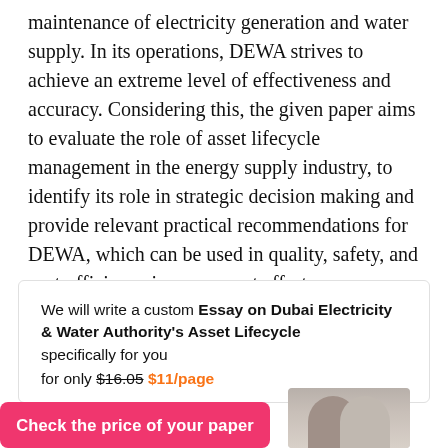maintenance of electricity generation and water supply. In its operations, DEWA strives to achieve an extreme level of effectiveness and accuracy. Considering this, the given paper aims to evaluate the role of asset lifecycle management in the energy supply industry, to identify its role in strategic decision making and provide relevant practical recommendations for DEWA, which can be used in quality, safety, and cost-efficiency improvement efforts.
We will write a custom Essay on Dubai Electricity & Water Authority's Asset Lifecycle specifically for you for only $16.05 $11/page
[Figure (photo): Two people photo, partially visible at bottom of ad box]
Check the price of your paper